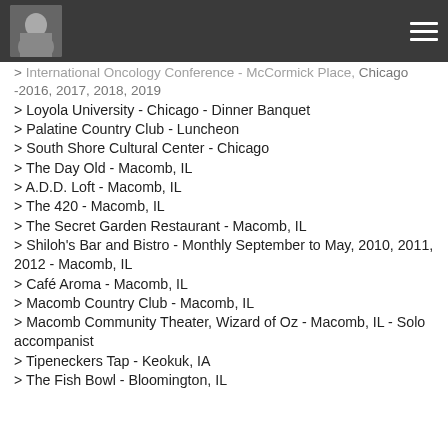[Profile photo and navigation menu]
> International Oncology Conference - McCormick Place, Chicago -2016, 2017, 2018, 2019
> Loyola University - Chicago - Dinner Banquet
> Palatine Country Club - Luncheon
> South Shore Cultural Center - Chicago
> The Day Old - Macomb, IL
> A.D.D. Loft - Macomb, IL
> The 420 - Macomb, IL
> The Secret Garden Restaurant - Macomb, IL
> Shiloh's Bar and Bistro - Monthly September to May, 2010, 2011, 2012 - Macomb, IL
> Café Aroma - Macomb, IL
> Macomb Country Club - Macomb, IL
> Macomb Community Theater, Wizard of Oz - Macomb, IL - Solo accompanist
> Tipeneckers Tap - Keokuk, IA
> The Fish Bowl - Bloomington, IL